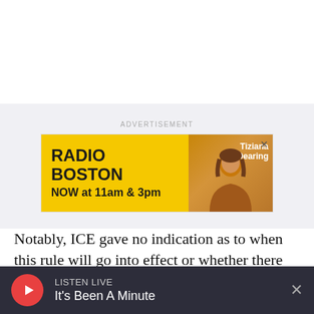[Figure (illustration): WBUR Radio Boston advertisement banner with yellow background, showing 'RADIO BOSTON NOW at 11am & 3pm' text and photo of Tiziana Dearing]
Notably, ICE gave no indication as to when this rule will go into effect or whether there will be a grace period, and some colleges and universities are urging international students not to make decisions on their plans for the fall until more is known about the ICE ruling.
LISTEN LIVE It's Been A Minute